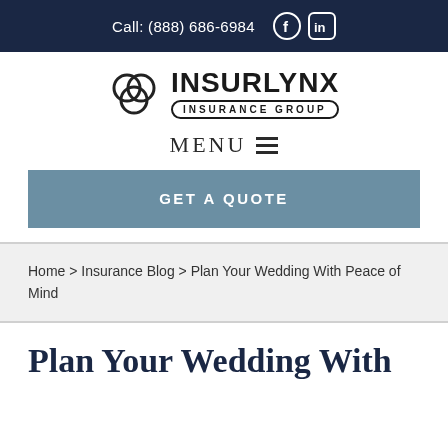Call: (888) 686-6984
[Figure (logo): InsurLynx Insurance Group logo with interlocking rings icon and bold brand name]
MENU
GET A QUOTE
Home > Insurance Blog > Plan Your Wedding With Peace of Mind
Plan Your Wedding With